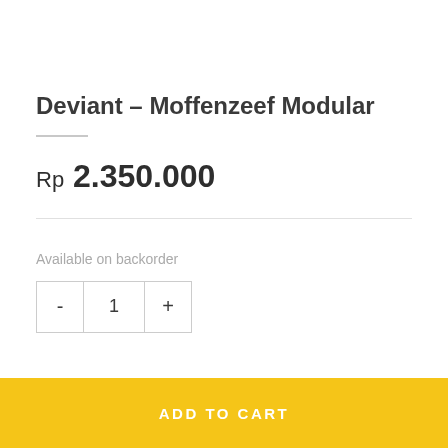Deviant – Moffenzeef Modular
Rp 2.350.000
Available on backorder
- 1 +
ADD TO CART